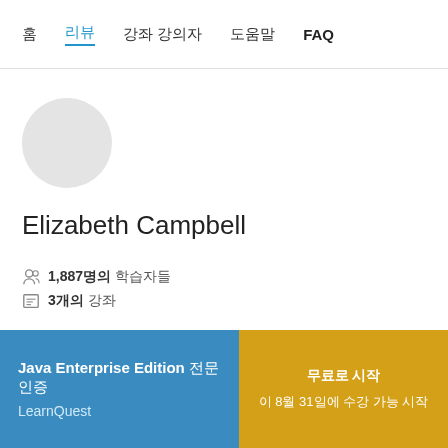홈  리뷰  강좌 강의자  도움말  FAQ
[Figure (illustration): Circular grey placeholder avatar]
Elizabeth Campbell
1,887명의 학습자들
3개의 강좌
[Figure (photo): Circular photo of a person wearing a hat outdoors]
Java Enterprise Edition 전문 인증  LearnQuest
무료로 시작  이 8월 31일에 수강 가능 시작